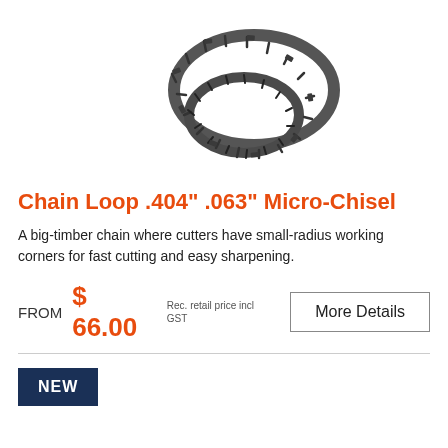[Figure (photo): A chainsaw chain loop coiled on a white background, dark metal chain with cutter links visible]
Chain Loop .404" .063" Micro-Chisel
A big-timber chain where cutters have small-radius working corners for fast cutting and easy sharpening.
FROM  $ 66.00  Rec. retail price incl GST  More Details
NEW